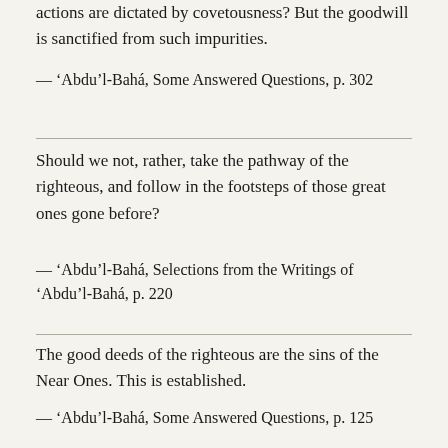actions are dictated by covetousness? But the goodwill is sanctified from such impurities.
— ‘Abdu’l-Bahá, Some Answered Questions, p. 302
Should we not, rather, take the pathway of the righteous, and follow in the footsteps of those great ones gone before?
— ‘Abdu’l-Bahá, Selections from the Writings of ‘Abdu’l-Bahá, p. 220
The good deeds of the righteous are the sins of the Near Ones. This is established.
— ‘Abdu’l-Bahá, Some Answered Questions, p. 125